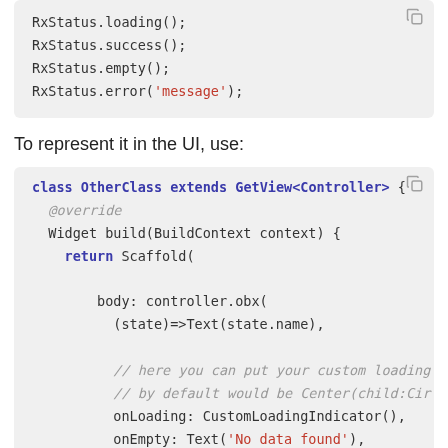[Figure (screenshot): Code block showing RxStatus method calls: RxStatus.loading(); RxStatus.success(); RxStatus.empty(); RxStatus.error('message');]
To represent it in the UI, use:
[Figure (screenshot): Code block showing class OtherClass extends GetView<Controller> with Widget build method, controller.obx call, onLoading and onEmpty parameters, and comments about custom loading and error widgets]